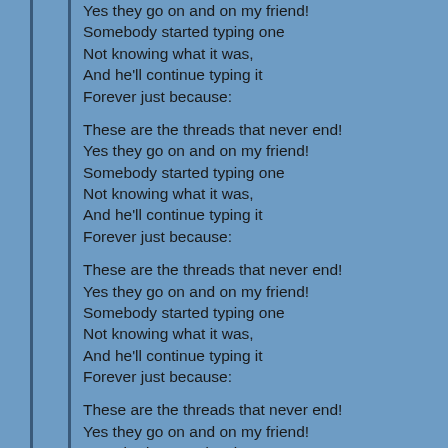Yes they go on and on my friend!
Somebody started typing one
Not knowing what it was,
And he'll continue typing it
Forever just because:

These are the threads that never end!
Yes they go on and on my friend!
Somebody started typing one
Not knowing what it was,
And he'll continue typing it
Forever just because:

These are the threads that never end!
Yes they go on and on my friend!
Somebody started typing one
Not knowing what it was,
And he'll continue typing it
Forever just because:

These are the threads that never end!
Yes they go on and on my friend!
Somebody started typing one
Not knowing what it was,
And he'll continue typing it
Forever just because:

These are the threads that never end!
Yes they go on and on my friend!
Somebody started typing one